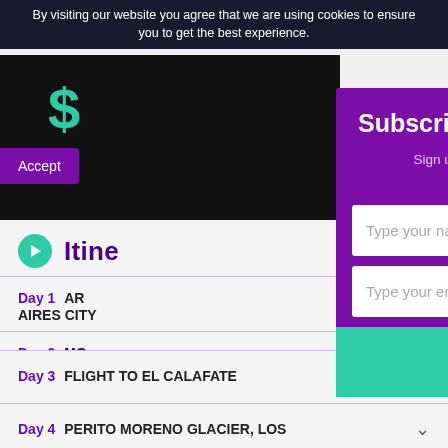By visiting our website you agree that we are using cookies to ensure you to get the best experience.
Accept
[Figure (screenshot): Dark background with a dollar sign and 'DI...' text visible behind the subscribe modal]
Subscribe for Travel Upda...
Sign up here to receive great South America travel offers!
Type your name
Type your email
SUBMIT
Itinerary
Day 1  AR... AIRES CITY
Day 2  MO... AFTERNO...
Day 3  FLIGHT TO EL CALAFATE
Day 4  PERITO MORENO GLACIER, LOS